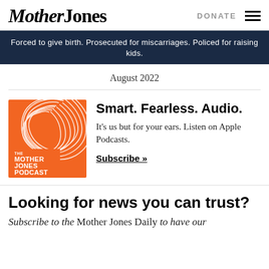Mother Jones | DONATE
[Figure (infographic): Dark navy blue banner reading: Forced to give birth. Prosecuted for miscarriages. Policed for raising kids.]
August 2022
[Figure (illustration): The Mother Jones Podcast logo — orange square with white swirling lines and bold white text reading THE MOTHER JONES PODCAST]
Smart. Fearless. Audio.
It's us but for your ears. Listen on Apple Podcasts.
Subscribe »
Looking for news you can trust?
Subscribe to the Mother Jones Daily to have our